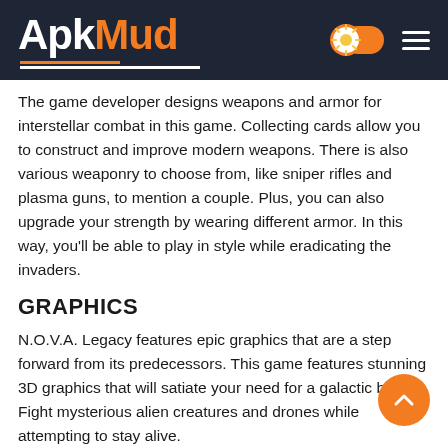ApkMud
The game developer designs weapons and armor for interstellar combat in this game. Collecting cards allow you to construct and improve modern weapons. There is also various weaponry to choose from, like sniper rifles and plasma guns, to mention a couple. Plus, you can also upgrade your strength by wearing different armor. In this way, you’ll be able to play in style while eradicating the invaders.
GRAPHICS
N.O.V.A. Legacy features epic graphics that are a step forward from its predecessors. This game features stunning 3D graphics that will satiate your need for a galactic battle. Fight mysterious alien creatures and drones while attempting to stay alive.
CONTROLS